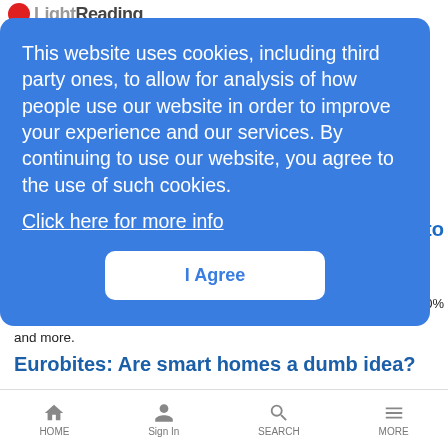LightReading
This website uses cookies, including third party ones, to allow for analysis of how people use our website in order to improve your experience and our services. By continuing to use our website, you agree to the use of such cookies. Click here for more info
I Agree
f closing 'dry Holanda
to
ly 20%
female keynoters; will women in tech be left behind?; podcast fees; and more.
Eurobites: Are smart homes a dumb idea?
News Analysis | 7/2/2021
Also in today’s EMEA regional roundup: Magyar Telekom goes with Amdocs for billing upgrade; Nokia takes GPON to Armenia; Three UK
HOME   Sign In   SEARCH   MORE